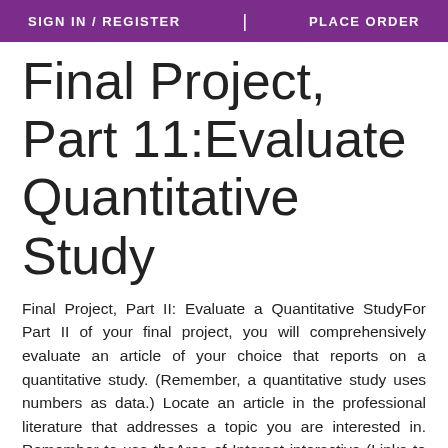SIGN IN / REGISTER | PLACE ORDER
Final Project, Part 11:Evaluate Quantitative Study
Final Project, Part II: Evaluate a Quantitative StudyFor Part II of your final project, you will comprehensively evaluate an article of your choice that reports on a quantitative study. (Remember, a quantitative study uses numbers as data.) Locate an article in the professional literature that addresses a topic you are interested in. Remember to use theArea of Interest interactive (Links to an external site.)to guide you in the selection process. The article you select should describe a quantitative study and should have all or most of the expected sections, either with their own headings or embedded in the article. Introduction Literature Review